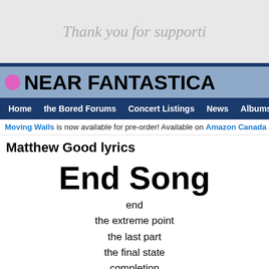[Figure (other): Gray advertisement banner with text 'Thank you for supporti' (truncated)]
NEAR FANTASTICA
Home | the Bored Forums | Concert Listings | News | Albums | Lyr
Moving Walls is now available for pre-order! Available on Amazon Canada
Matthew Good lyrics
End Song
end
the extreme point
the last part
the final state
completion
close of life
death issue
resulting drift